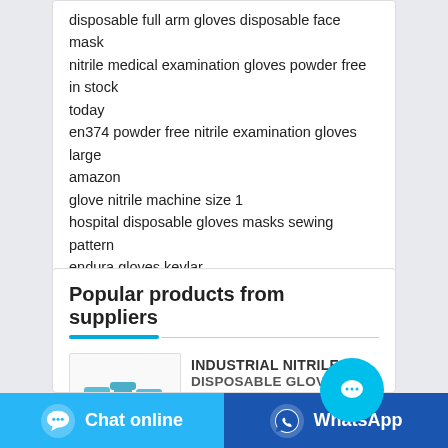disposable full arm gloves disposable face mask
nitrile medical examination gloves powder free in stock today
en374 powder free nitrile examination gloves large amazon
glove nitrile machine size 1
hospital disposable gloves masks sewing pattern
endura gloves kevlar
latex free medium disposable gloves for women made in usa
Popular products from suppliers
[Figure (other): Product image placeholder showing blue glove icons]
INDUSTRIAL NITRILE DISPOSABLE GLOVES